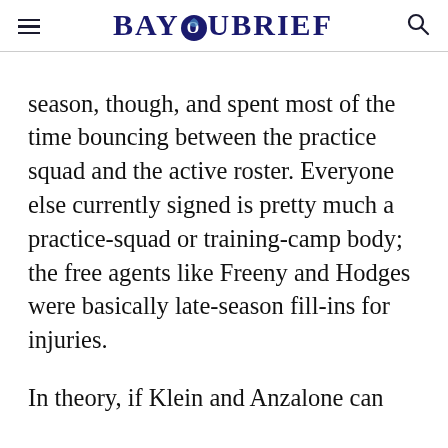BAYOUBRIEF
season, though, and spent most of the time bouncing between the practice squad and the active roster. Everyone else currently signed is pretty much a practice-squad or training-camp body; the free agents like Freeny and Hodges were basically late-season fill-ins for injuries.
In theory, if Klein and Anzalone can